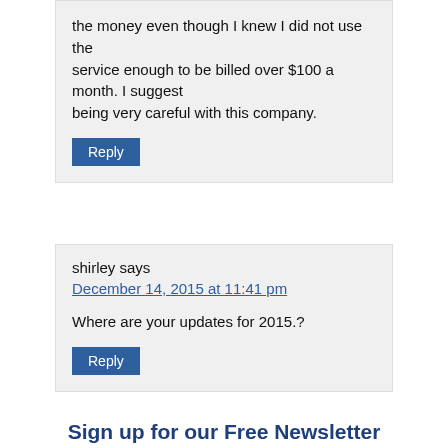the money even though I knew I did not use the service enough to be billed over $100 a month. I suggest being very careful with this company.
Reply
shirley says
December 14, 2015 at 11:41 pm
Where are your updates for 2015.?
Reply
Sign up for our Free Newsletter